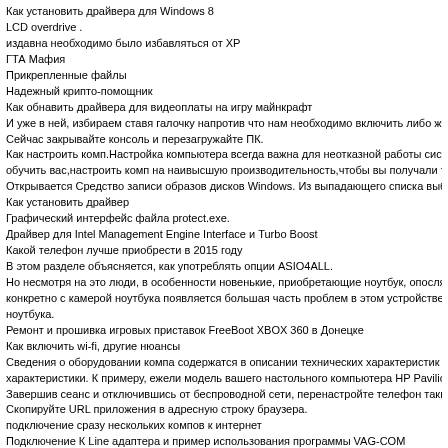Как установить драйвера для Windows 8
LCD overdrive .
издавна необходимо было избавляться от ХР
ГТА Мафия
Прикрепленные файлы
Надежный крипто-помощник
Как обнавить драйвера для видеоплаты на игру майнкрафт
И уже в ней, избираем ставя галочку напротив что нам необходимо включить либо же от
Сейчас закрывайте консоль и перезагружайте ПК.
Как настроить комп.Настройка компьютера всегда важна для неотказной работы систем обучить вас,настроить комп на наивысшую производительность,чтобы вы получали тол
Открывается Средство записи образов дисков Windows. Из выпадающего списка выбира
Как установить драйвер
Графический интерфейс файла protect.exe.
Драйвер для Intel Management Engine Interface и Turbo Boost
Какой телефон лучше приобрести в 2015 году
В этом разделе объясняется, как употреблять опции ASIO4ALL.
Но несмотря на это люди, в особенности новенькие, приобретающие ноутбук, опосля то конкретно с камерой ноутбука появляется большая часть проблем в этом устройстве. О ноутбука.
Ремонт и прошивка игровых приставок FreeBoot XBOX 360 в Донецке
Как включить wi-fi, другие нюансы
Сведения о оборудовании компа содержатся в описании технических характеристик мод характеристики. К примеру, ежели модель вашего настольного компьютера HP Pavilion H
Завершив сеанс и отключившись от беспроводной сети, перенастройте телефон таким м
Скопируйте URL приложения в адресную строку браузера.
подключение сразу нескольких компов к интернет
Подключение К Line адаптера и пример использования программы VAG-COM
в связи с полным пересозданием BCD нужно заново настроить среду восстановления.
http://bogorodski.info/category/1/geforce-7000m-drayver-windows-7/ - Geforce 7000m драйве
http://bogorodski.info/category/3/drayver-nvidia-dlya-noutbuka-samsung/ - „райвер nvidia для
http://bogorodski.info/category/6/drayvera-na-amd-7800/ - „райвера на амд 7800
http://bogorodski.info/category/5/katalog-drayverov-dlya-macosx/ - Льаталог драйверов для
http://bogorodski.info/category/6/drayver-ga-945gcm-s2c/ - „райвер ga 945gcm s2c
http://asinoi.info/category/3/uluchshat-li-novie-drayvera-dlya-materinskih-plat-proizvoditelnost/
http://asinoi.info/category/3/drayver-na-videokartu-dlya-sony-vaio-vgn-fs315sr-pod-hr/ - найде